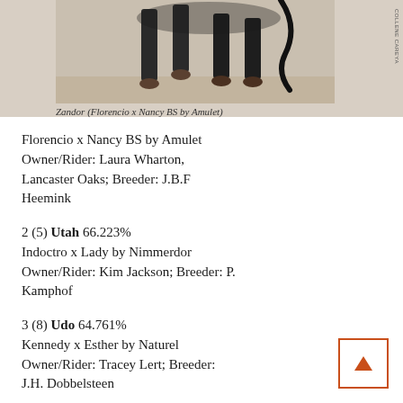[Figure (photo): Photo of horse legs on sandy ground, partially cropped, showing the lower body and legs of a horse in motion. Photo credit: COLLENE CAREYA]
Zandor (Florencio x Nancy BS by Amulet)
Florencio x Nancy BS by Amulet
Owner/Rider: Laura Wharton, Lancaster Oaks; Breeder: J.B.F Heemink
2 (5) Utah 66.223%
Indoctro x Lady by Nimmerdor
Owner/Rider: Kim Jackson; Breeder: P. Kamphof
3 (8) Udo 64.761%
Kennedy x Esther by Naturel
Owner/Rider: Tracey Lert; Breeder: J.H. Dobbelsteen
4 (15) Radley 60.479%
Krack C x Bienvenue by Marinier
Owner/Rider: Elizabeth Keadle;